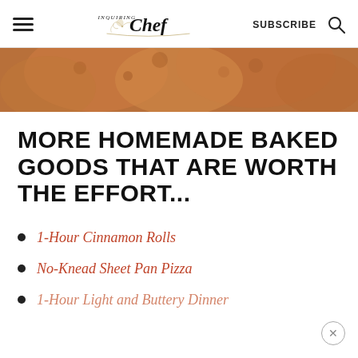Inquiring Chef — SUBSCRIBE
[Figure (photo): Close-up photo of golden-brown homemade baked goods (rolls or buns) from above]
MORE HOMEMADE BAKED GOODS THAT ARE WORTH THE EFFORT...
1-Hour Cinnamon Rolls
No-Knead Sheet Pan Pizza
1-Hour Light and Buttery Dinner